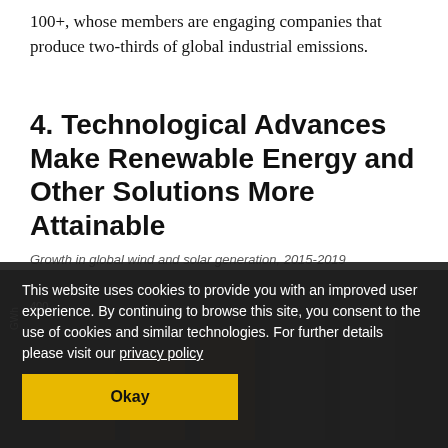100+, whose members are engaging companies that produce two-thirds of global industrial emissions.
4. Technological Advances Make Renewable Energy and Other Solutions More Attainable
Growth in global wind and solar generation, 2015-2019
[Figure (bar-chart): Bar chart partially visible behind cookie consent overlay, showing growth in global wind and solar generation from 2015 to 2019. Y-axis shows values including 100 and 400. Bars appear in dark brownish colors against dark background.]
This website uses cookies to provide you with an improved user experience. By continuing to browse this site, you consent to the use of cookies and similar technologies. For further details please visit our privacy policy
Okay